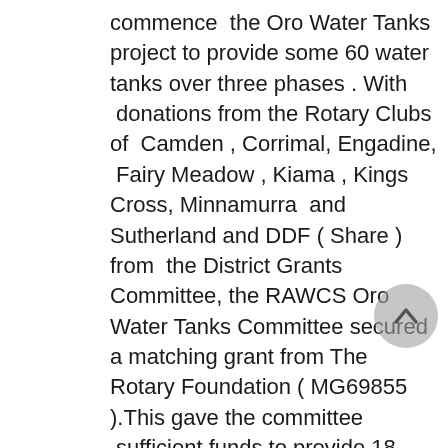commence  the Oro Water Tanks project to provide some 60 water tanks over three phases . With  donations from the Rotary Clubs of  Camden , Corrimal, Engadine,  Fairy Meadow , Kiama , Kings Cross, Minnamurra  and Sutherland and DDF ( Share ) from  the District Grants Committee, the RAWCS Oro Water Tanks Committee secured a matching grant from The Rotary Foundation ( MG69855 ).This gave the committee  sufficient funds to provide 18 tanks to 14 villages.
Being a matching grant project,  we needed to secure a host club in the field - This was admirably filled by the